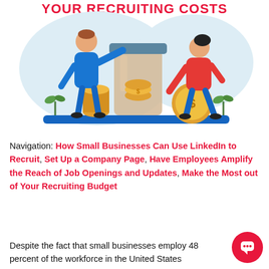[Figure (illustration): Illustration of two people (a man in blue and a woman in red) placing coins into a jar, with a blue platform base, on a light blue cloud background. Part of a 'Your Recruiting Costs' infographic.]
Navigation: How Small Businesses Can Use LinkedIn to Recruit, Set Up a Company Page, Have Employees Amplify the Reach of Job Openings and Updates, Make the Most out of Your Recruiting Budget
Despite the fact that small businesses employ 48 percent of the workforce in the United States